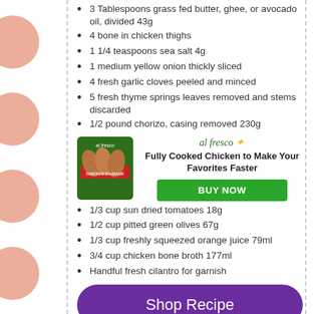3 Tablespoons grass fed butter, ghee, or avocado oil, divided 43g
4 bone in chicken thighs
1 1/4 teaspoons sea salt 4g
1 medium yellow onion thickly sliced
4 fresh garlic cloves peeled and minced
5 fresh thyme springs leaves removed and stems discarded
1/2 pound chorizo, casing removed 230g
[Figure (illustration): Al Fresco chicken sausage product advertisement with product image on left, brand logo, headline 'Fully Cooked Chicken to Make Your Favorites Faster' and green BUY NOW button]
1/3 cup sun dried tomatoes 18g
1/2 cup pitted green olives 67g
1/3 cup freshly squeezed orange juice 79ml
3/4 cup chicken bone broth 177ml
Handful fresh cilantro for garnish
[Figure (illustration): Purple rounded button with text 'Shop Recipe']
Powered by chicory
Instructions
Add 2 tablespoons (29 g) of healthy fat of choice to the